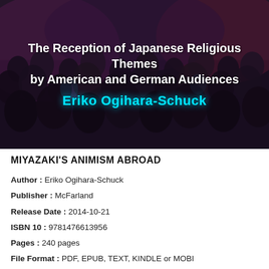[Figure (photo): Book cover image showing a crowd of people from behind (audience), dark toned. Overlaid with white bold text 'The Reception of Japanese Religious Themes by American and German Audiences' and cyan glowing text 'Eriko Ogihara-Schuck'.]
MIYAZAKI'S ANIMISM ABROAD
Author : Eriko Ogihara-Schuck
Publisher : McFarland
Release Date : 2014-10-21
ISBN 10 : 9781476613956
Pages : 240 pages
File Format : PDF, EPUB, TEXT, KINDLE or MOBI
Rating : 4.1/5 (395 users download)